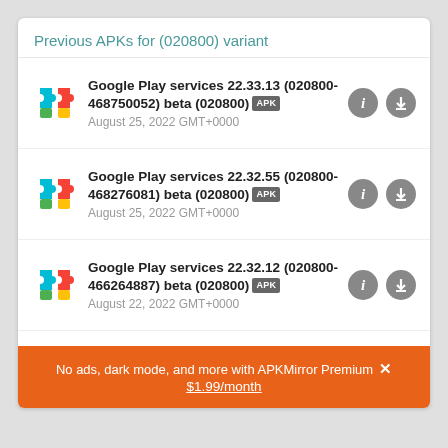Previous APKs for (020800) variant
Google Play services 22.33.13 (020800-468750052) beta (020800) APK
August 25, 2022 GMT+0000
Google Play services 22.32.55 (020800-468276081) beta (020800) APK
August 25, 2022 GMT+0000
Google Play services 22.32.12 (020800-466264887) beta (020800) APK
August 22, 2022 GMT+0000
Google Play services 22.31.55 (020800-466431655) beta (020800) APK
August 20, 2022 GMT+0000
No ads, dark mode, and more with APKMirror Premium ×
$1.99/month